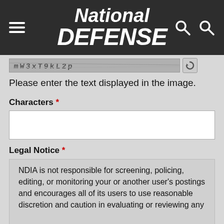National DEFENSE
[Figure (other): CAPTCHA image strip with distorted text characters for verification]
Please enter the text displayed in the image.
Characters *
Legal Notice *
NDIA is not responsible for screening, policing, editing, or monitoring your or another user's postings and encourages all of its users to use reasonable discretion and caution in evaluating or reviewing any